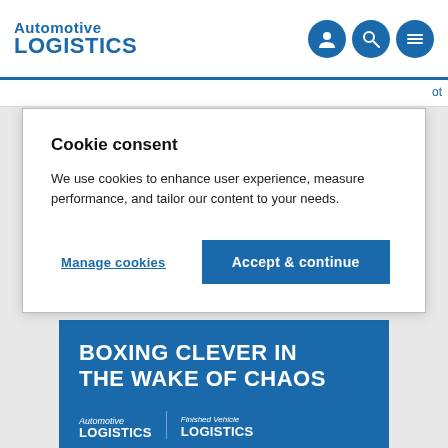Automotive LOGISTICS
Cookie consent
We use cookies to enhance user experience, measure performance, and tailor our content to your needs.
Manage cookies | Accept & continue
[Figure (other): Automotive Logistics / Finished Vehicle Logistics banner reading BOXING CLEVER IN THE WAKE OF CHAOS]
Mitsubishi becomes top exporter in